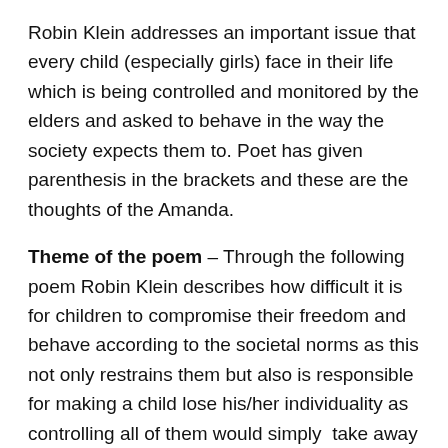Robin Klein addresses an important issue that every child (especially girls) face in their life which is being controlled and monitored by the elders and asked to behave in the way the society expects them to. Poet has given parenthesis in the brackets and these are the thoughts of the Amanda.
Theme of the poem – Through the following poem Robin Klein describes how difficult it is for children to compromise their freedom and behave according to the societal norms as this not only restrains them but also is responsible for making a child lose his/her individuality as controlling all of them would simply take away their uniqueness and originality.
SUMMARY